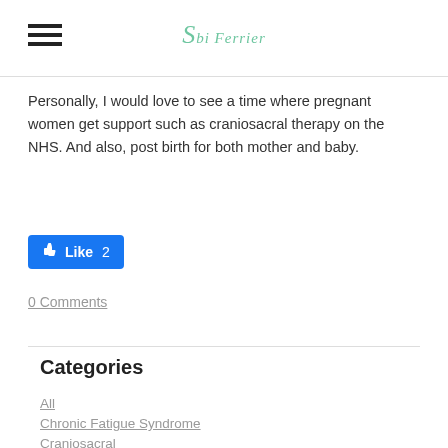Sbi Ferrier
Personally, I would love to see a time where pregnant women get support such as craniosacral therapy on the NHS. And also, post birth for both mother and baby.
[Figure (other): Facebook Like button showing 2 likes]
0 Comments
Categories
All
Chronic Fatigue Syndrome
Craniosacral